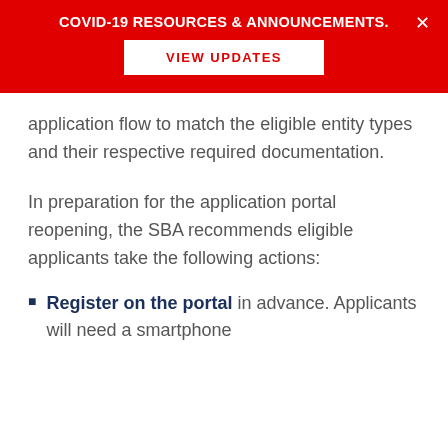COVID-19 RESOURCES & ANNOUNCEMENTS.
application flow to match the eligible entity types and their respective required documentation.
In preparation for the application portal reopening, the SBA recommends eligible applicants take the following actions:
Register on the portal in advance. Applicants will need a smartphone